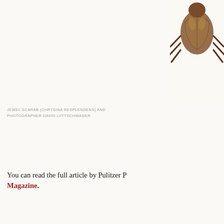[Figure (photo): Partial view of a jewel scarab beetle (Chrysina resplendens) shown from below/side, brown and gold coloring, legs visible, against white background]
JEWEL SCARAB (CHRYSINA RESPLENDENS) AND PHOTOGRAPHER DAVID LIITTSCHWAGER
You can read the full article by Pulitzer Prize-winning journalist in National Geographic Magazine.
[Figure (illustration): Faint handwritten script text in background watermark style]
BIODIVERSITY, CAMPELOMA, COSTA RICA,
[Figure (illustration): Decorative divider line with ornamental flourish design]
[Figure (photo): Partial view of an ornate gilded crown or decorative object at bottom right]